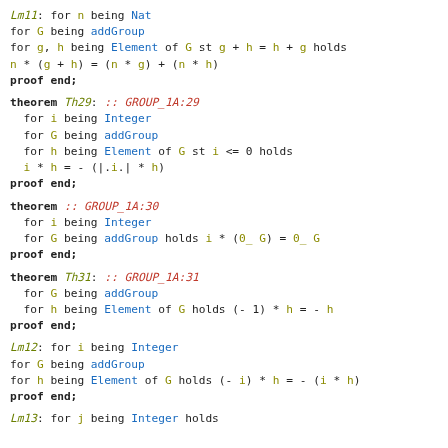Lm11: for n being Nat
for G being addGroup
for g, h being Element of G st g + h = h + g holds
n * (g + h) = (n * g) + (n * h)
proof end;
theorem Th29: :: GROUP_1A:29
  for i being Integer
  for G being addGroup
  for h being Element of G st i <= 0 holds
  i * h = - (|.i.| * h)
proof end;
theorem :: GROUP_1A:30
  for i being Integer
  for G being addGroup holds i * (0_ G) = 0_ G
proof end;
theorem Th31: :: GROUP_1A:31
  for G being addGroup
  for h being Element of G holds (- 1) * h = - h
proof end;
Lm12: for i being Integer
for G being addGroup
for h being Element of G holds (- i) * h = - (i * h)
proof end;
Lm13: for j being Integer holds